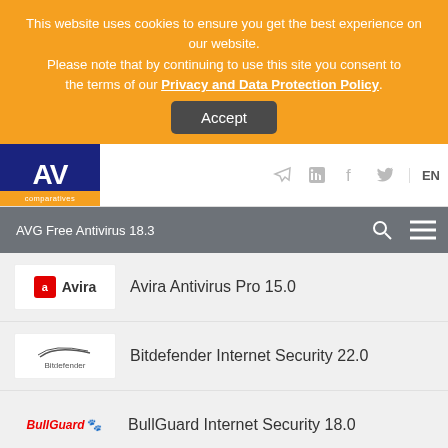This website uses cookies to ensure you get the best experience on our website. Please note that by continuing to use this site you consent to the terms of our Privacy and Data Protection Policy. Accept
AV comparatives — AVG Free Antivirus 18.3 — EN
Avira Antivirus Pro 15.0
Bitdefender Internet Security 22.0
BullGuard Internet Security 18.0
Emsisoft Anti-Malware 2018.3
ESET Internet Security 11.1